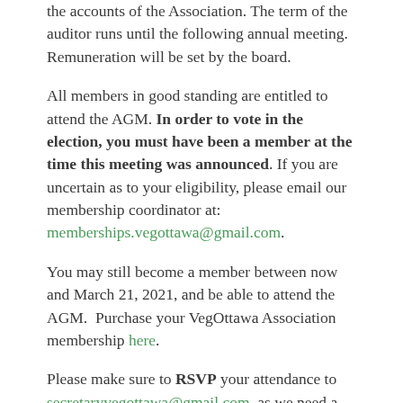the accounts of the Association. The term of the auditor runs until the following annual meeting. Remuneration will be set by the board.
All members in good standing are entitled to attend the AGM. In order to vote in the election, you must have been a member at the time this meeting was announced. If you are uncertain as to your eligibility, please email our membership coordinator at: memberships.vegottawa@gmail.com.
You may still become a member between now and March 21, 2021, and be able to attend the AGM. Purchase your VegOttawa Association membership here.
Please make sure to RSVP your attendance to secretaryvegottawa@gmail.com, as we need a certain